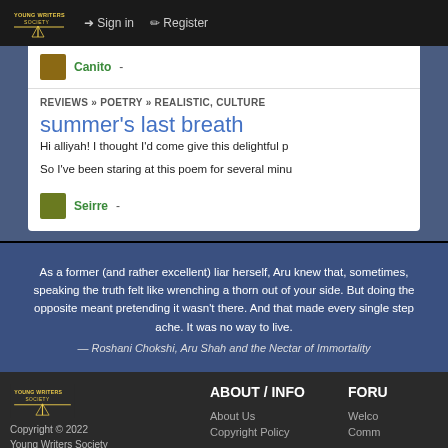Sign in | Register — Young Writers Society navigation
Canito -
REVIEWS » POETRY » REALISTIC, CULTURE
summer's last breath
Hi alliyah! I thought I'd come give this delightful p...
So I've been staring at this poem for several minu...
Seirre -
As a former (and rather excellent) liar herself, Aru knew that, sometimes, speaking the truth felt like wrenching a thorn out of your side. But doing the opposite meant pretending it wasn't there. And that made every single step ache. It was no way to live.
— Roshani Chokshi, Aru Shah and the Nectar of Immortality
ABOUT / INFO | About Us | Copyright Policy | FORU... | Welco... | Comm...
Copyright © 2022 Young Writers Society